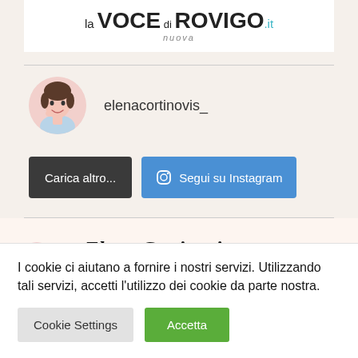[Figure (logo): la VOCE di ROVIGO.it nuova – newspaper logo, black and teal]
elenacortinovis_
Carica altro...
Segui su Instagram
[Figure (illustration): Elena Cortinovis banner with candy/macaroon illustration and cursive handwritten logo text]
I cookie ci aiutano a fornire i nostri servizi. Utilizzando tali servizi, accetti l'utilizzo dei cookie da parte nostra.
Cookie Settings
Accetta